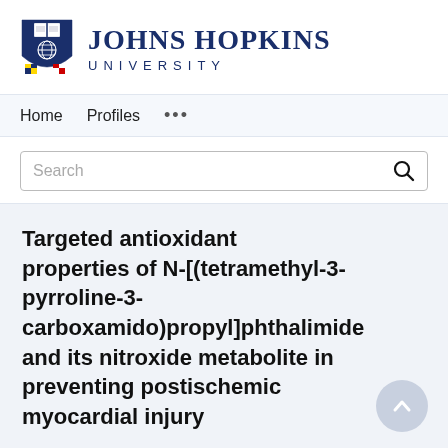[Figure (logo): Johns Hopkins University logo with shield crest and text]
Home   Profiles   ...
Search
Targeted antioxidant properties of N-[(tetramethyl-3-pyrroline-3-carboxamido)propyl]phthalimide and its nitroxide metabolite in preventing postischemic myocardial injury